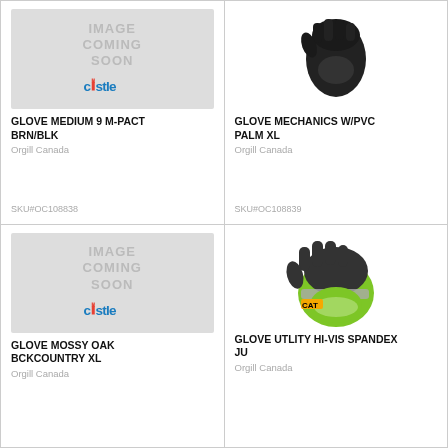[Figure (photo): Castle branded 'Image Coming Soon' placeholder for glove product, top-left cell]
GLOVE MEDIUM 9 M-PACT BRN/BLK
Orgill Canada
SKU#OC108838
[Figure (photo): Black mechanics glove with PVC palm, top-right cell]
GLOVE MECHANICS W/PVC PALM XL
Orgill Canada
SKU#OC108839
[Figure (photo): Castle branded 'Image Coming Soon' placeholder for glove product, bottom-left cell]
GLOVE MOSSY OAK BCKCOUNTRY XL
Orgill Canada
[Figure (photo): CAT branded hi-vis green and black utility spandex glove, bottom-right cell]
GLOVE UTLITY HI-VIS SPANDEX JU
Orgill Canada